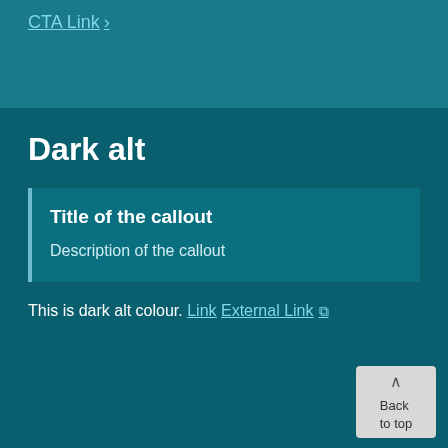CTA Link >
Dark alt
Title of the callout
Description of the callout
This is dark alt colour.
Link
External Link